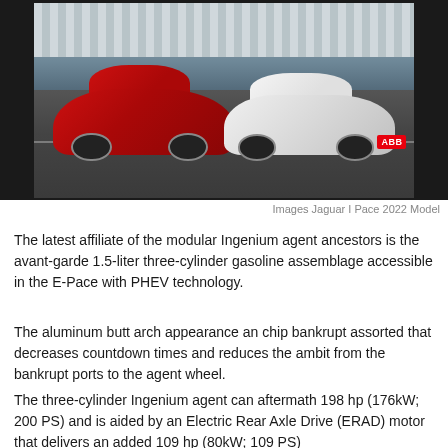[Figure (photo): Two electric cars on a race track — a red Jaguar I-Pace on the left and a white Tesla Model X on the right, with grandstands visible in the background and an ABB logo sign on the right. The image has black borders on left and right.]
Images Jaguar I Pace 2022 Model
The latest affiliate of the modular Ingenium agent ancestors is the avant-garde 1.5-liter three-cylinder gasoline assemblage accessible in the E-Pace with PHEV technology.
The aluminum butt arch appearance an chip bankrupt assorted that decreases countdown times and reduces the ambit from the bankrupt ports to the agent wheel.
The three-cylinder Ingenium agent can aftermath 198 hp (176kW; 200 PS) and is aided by an Electric Rear Axle Drive (ERAD) motor that delivers an added 109 hp (80kW; 109 PS)